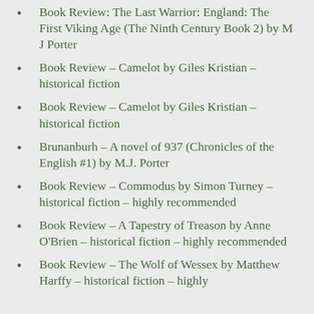Book Review: The Last Warrior: England: The First Viking Age (The Ninth Century Book 2) by M J Porter
Book Review – Camelot by Giles Kristian – historical fiction
Book Review – Camelot by Giles Kristian – historical fiction
Brunanburh – A novel of 937 (Chronicles of the English #1) by M.J. Porter
Book Review – Commodus by Simon Turney – historical fiction – highly recommended
Book Review – A Tapestry of Treason by Anne O'Brien – historical fiction – highly recommended
Book Review – The Wolf of Wessex by Matthew Harffy – historical fiction – highly recommended